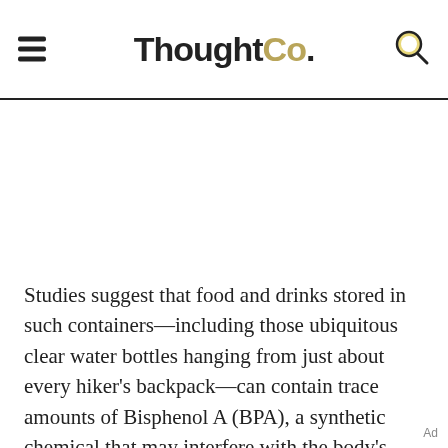ThoughtCo.
Studies suggest that food and drinks stored in such containers—including those ubiquitous clear water bottles hanging from just about every hiker's backpack—can contain trace amounts of Bisphenol A (BPA), a synthetic chemical that may interfere with the body's natural hormone